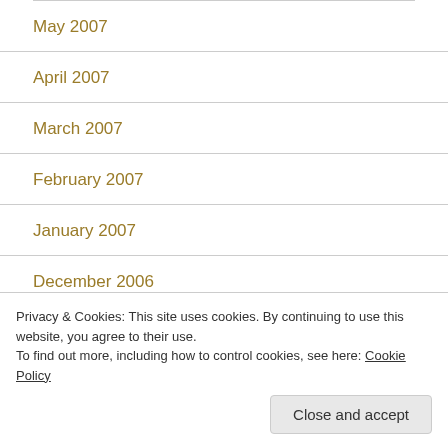May 2007
April 2007
March 2007
February 2007
January 2007
December 2006
Privacy & Cookies: This site uses cookies. By continuing to use this website, you agree to their use.
To find out more, including how to control cookies, see here: Cookie Policy
Close and accept